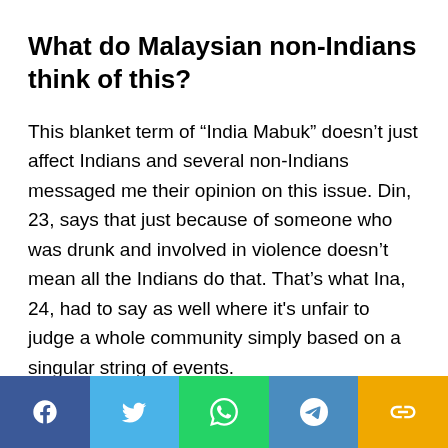What do Malaysian non-Indians think of this?
This blanket term of “India Mabuk” doesn’t just affect Indians and several non-Indians messaged me their opinion on this issue. Din, 23, says that just because of someone who was drunk and involved in violence doesn’t mean all the Indians do that. That’s what Ina, 24, had to say as well where it's unfair to judge a whole community simply based on a singular string of events.
[Figure (infographic): Social sharing bar with five buttons: Facebook (dark blue), Twitter (light blue), WhatsApp (green), Telegram (medium blue), and a link/share icon (amber/yellow).]